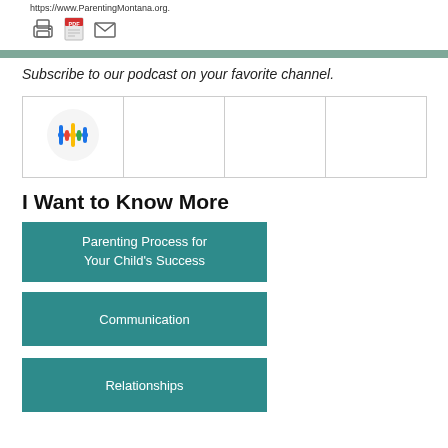https://www.ParentingMontana.org.
Subscribe to our podcast on your favorite channel.
|  |  |  |  |
| --- | --- | --- | --- |
| [Google Podcasts icon] |  |  |  |
I Want to Know More
Parenting Process for Your Child's Success
Communication
Relationships